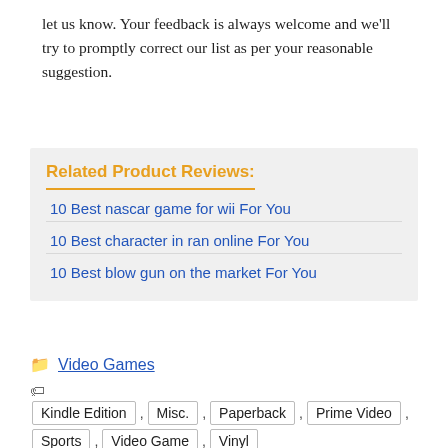let us know. Your feedback is always welcome and we'll try to promptly correct our list as per your reasonable suggestion.
Related Product Reviews:
10 Best nascar game for wii For You
10 Best character in ran online For You
10 Best blow gun on the market For You
Video Games
Kindle Edition , Misc. , Paperback , Prime Video , Sports , Video Game , Vinyl